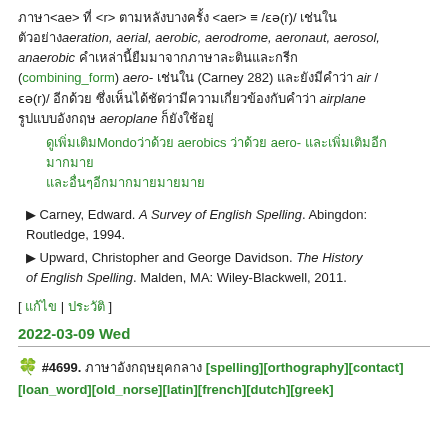ภาษา<ae> ที่ <r> ตามหลังบางครั้ง <aer> ≡ /ɛə(r)/ เช่นใน ตัวอย่าง aeration, aerial, aerobic, aerodrome, aeronaut, aerosol, anaerobic คำเหล่านี้ยืมมาจากภาษาละตินและกรีก (combining_form) aero- เช่นใน (Carney 282) และยังมีคำว่า air / ɛə(r)/ อีกด้วย ซึ่งเห็นได้ชัดว่ามีความเกี่ยวข้องกับคำว่า airplane รูปแบบอังกฤษ aeroplane ก็ยังใช้อยู่
ดูเพิ่มเติมMondoว่าด้วย aerobics ว่าด้วย aero- และเพิ่มเติมอีกมากมาย และอื่นๆอีกมากมายมายมาย
▶ Carney, Edward. A Survey of English Spelling. Abingdon: Routledge, 1994.
▶ Upward, Christopher and George Davidson. The History of English Spelling. Malden, MA: Wiley-Blackwell, 2011.
[ แก้ไข | ประวัติ ]
2022-03-09 Wed
🍀 #4699. ภาษาอังกฤษยุคกลาง [spelling][orthography][contact][loan_word][old_norse][latin][french][dutch][greek]